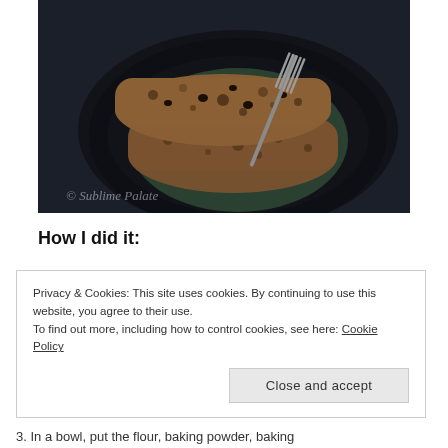[Figure (photo): Overhead photo of two slices of banana bread with chocolate chips on a dark ceramic plate with a fork, on a dark background. Watermark text: © Sublime Palate]
How I did it:
Privacy & Cookies: This site uses cookies. By continuing to use this website, you agree to their use.
To find out more, including how to control cookies, see here: Cookie Policy
Close and accept
3. In a bowl, put the flour, baking powder, baking